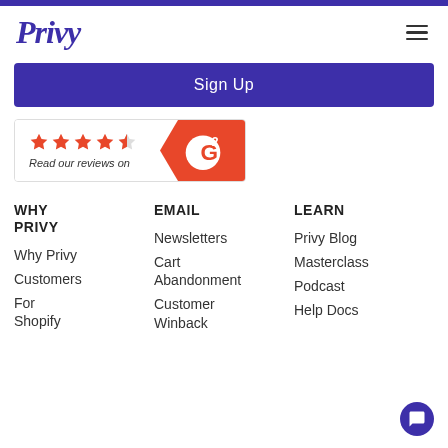Privy
[Figure (logo): Privy logo in purple italic stylized font]
Sign Up
[Figure (other): G2 review badge with 4.5 stars and 'Read our reviews on G2' text on orange background]
WHY PRIVY
Why Privy
Customers
For Shopify
EMAIL
Newsletters
Cart Abandonment
Customer Winback
LEARN
Privy Blog
Masterclass
Podcast
Help Docs